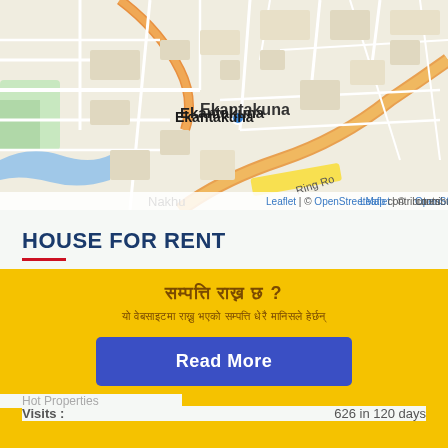[Figure (map): OpenStreetMap showing Ekantakuna, Lagankhel, Nakhu, Ring Road area. Leaflet | © OpenStreetMap contributors watermark visible.]
HOUSE FOR RENT
| Field | Value |
| --- | --- |
| Listing ID : | 7931 |
| Bedrooms : | 5 |
| Bathrooms : | 5 |
| Land Area : | 30 AAna |
| Price Type : | Per Month |
| Visits : | 626 in 120 days |
Hot Properties
सम्पत्ति राख्न छ ? (Nepali text banner title)
यो वेबसाइटमा राख्नु भएको सम्पत्ति धेरै मानिसले हेर्छन् (Nepali text banner subtitle)
Read More